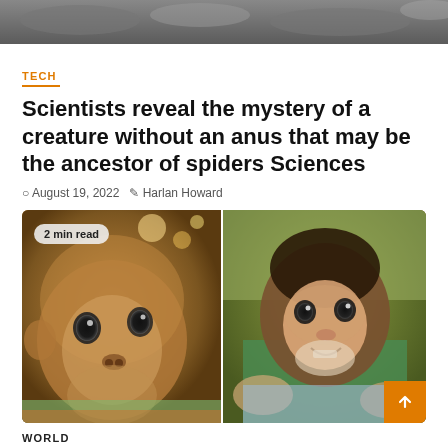[Figure (photo): Close-up microscope/textured image at top of page, dark grainy background]
TECH
Scientists reveal the mystery of a creature without an anus that may be the ancestor of spiders Sciences
August 19, 2022  Harlan Howard
[Figure (photo): Two photos of baby monkeys side by side. Left photo: close-up of a small brown monkey with large dark eyes looking at camera. Right photo: a baby capuchin monkey with dark head fur and pink face smiling, held by human hands. Badge reads '2 min read'.]
WORLD